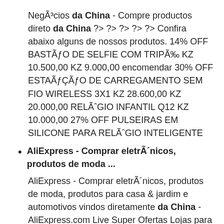Negócios da China - Compre productos direto da China ?> ?> ?> ?> ?> Confira abaixo alguns de nossos produtos. 14% OFF BASTÃO DE SELFIE COM TRIPÉ KZ 10.500,00 KZ 9.000,00 encomendar 30% OFF ESTAÇÃO DE CARREGAMENTO SEM FIO WIRELESS 3X1 KZ 28.600,00 KZ 20.000,00 RELÓGIO INFANTIL Q12 KZ 10.000,00 27% OFF PULSEIRAS EM SILICONE PARA RELÓGIO INTELIGENTE
AliExpress - Comprar eletrônicos, produtos de moda ...
AliExpress - Comprar eletrônicos, produtos de moda, produtos para casa & jardim e automotivos vindos diretamente da China - AliExpress.com Live Super Ofertas Lojas para Você Novos Usuários Categorias Moda Feminina Moda Masculina Telefonia e Comunicação Computadores, Escritório e Segurança Eletrô